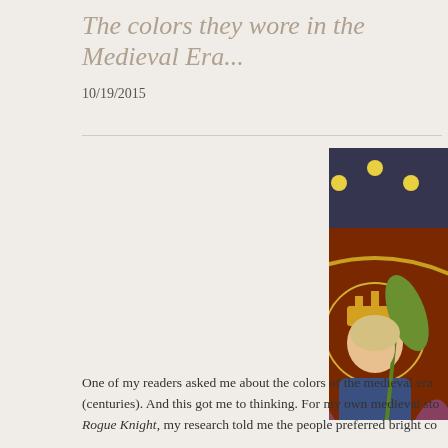The colors they wore in the Medieval Era...
10/19/2015
[Figure (illustration): Medieval altarpiece painting showing three figures: a golden-winged angel or saint with a radiant halo, a central figure wearing a crown and red garments holding a palm frond, and a partially visible third figure in blue robes holding scales, all set within gothic arched panels with ornate backgrounds]
One of my readers asked me about the colors of the medieval era (centuries). And this got me to thinking. For my own medieval sto Rogue Knight, my research told me the people preferred bright co